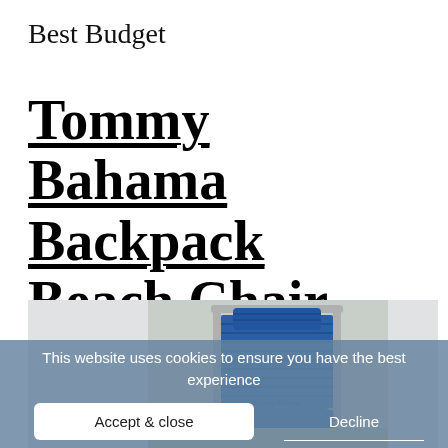Best Budget
Tommy Bahama Backpack Beach Chair
[Figure (photo): Blue Tommy Bahama backpack beach chair photographed on sandy beach background]
This website uses cookies to ensure you have the best experience
Accept & close
Decline